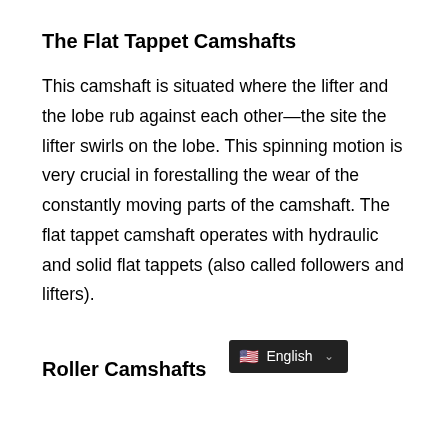The Flat Tappet Camshafts
This camshaft is situated where the lifter and the lobe rub against each other—the site the lifter swirls on the lobe. This spinning motion is very crucial in forestalling the wear of the constantly moving parts of the camshaft. The flat tappet camshaft operates with hydraulic and solid flat tappets (also called followers and lifters).
Roller Camshafts